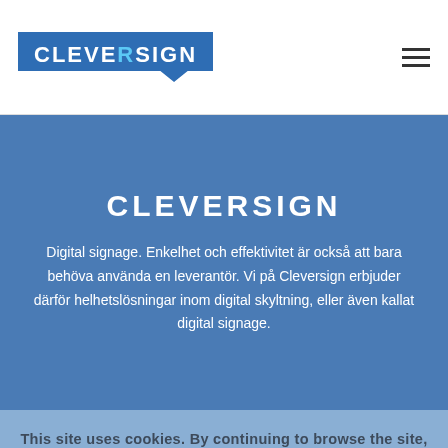[Figure (logo): Cleversign logo — white text on blue background with speech bubble shape]
CLEVERSIGN
Digital signage. Enkelhet och effektivitet är också att bara behöva använda en leverantör. Vi på Cleversign erbjuder därför helhetslösningar inom digital skyltning, eller även kallat digital signage.
This site uses cookies. By continuing to browse the site, you are agreeing to our use of cookies.